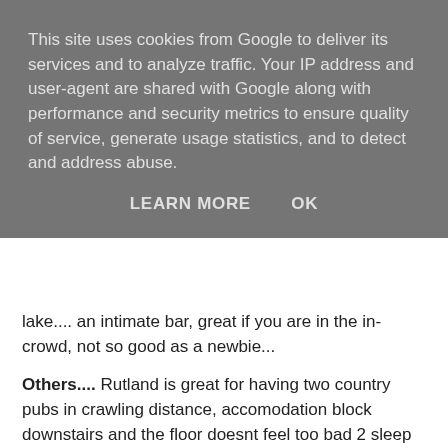This site uses cookies from Google to deliver its services and to analyze traffic. Your IP address and user-agent are shared with Google along with performance and security metrics to ensure quality of service, generate usage statistics, and to detect and address abuse.
LEARN MORE   OK
lake.... an intimate bar, great if you are in the in-crowd, not so good as a newbie...
Others.... Rutland is great for having two country pubs in crawling distance, accomodation block downstairs and the floor doesnt feel too bad 2 sleep on, Grafam great views.... Poole nice snooker table and great G&T's
BTW, don't worry up there in little Scotland, I haven't forgotten you...
St.Mary's Loch
THE Cheapest Bar in the UK, the friendliest members (the coldest water when yer skinny-dipping!), the maddest dancing and the best experience the most insistent...